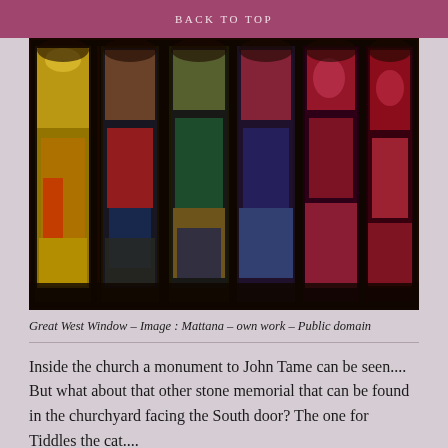BACK TO TOP
[Figure (photo): Photograph of the Great West Window of a church, showing six tall lancet stained glass panels with colorful medieval figural scenes including red-robed figures, angels, and decorative designs in yellow, blue, green, and red on a dark background.]
Great West Window – Image : Mattana – own work – Public domain
Inside the church a monument to John Tame can be seen.... But what about that other stone memorial that can be found in the churchyard facing the South door? The one for Tiddles the cat....